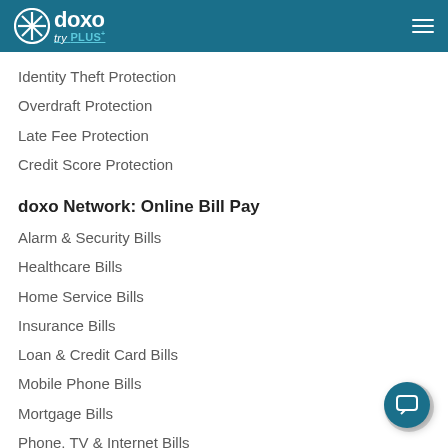doxo try PLUS
Identity Theft Protection
Overdraft Protection
Late Fee Protection
Credit Score Protection
doxo Network: Online Bill Pay
Alarm & Security Bills
Healthcare Bills
Home Service Bills
Insurance Bills
Loan & Credit Card Bills
Mobile Phone Bills
Mortgage Bills
Phone, TV & Internet Bills
Toll Roads & Travel Bills